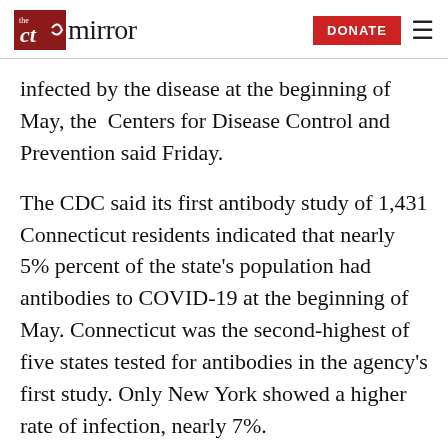the CT mirror — DONATE
infected by the disease at the beginning of May, the Centers for Disease Control and Prevention said Friday.
The CDC said its first antibody study of 1,431 Connecticut residents indicated that nearly 5% percent of the state's population had antibodies to COVID-19 at the beginning of May. Connecticut was the second-highest of five states tested for antibodies in the agency's first study. Only New York showed a higher rate of infection, nearly 7%.